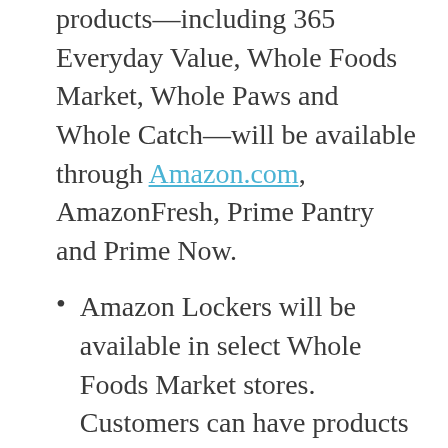products—including 365 Everyday Value, Whole Foods Market, Whole Paws and Whole Catch—will be available through Amazon.com, AmazonFresh, Prime Pantry and Prime Now.
Amazon Lockers will be available in select Whole Foods Market stores. Customers can have products shipped from Amazon.com to their local Whole Foods Market store for pick up or send returns back to Amazon during a trip to the store. This is just the beginning – Amazon and Whole Foods Market plan to offer more in-store benefits and lower prices for customers over time as the two companies integrate.